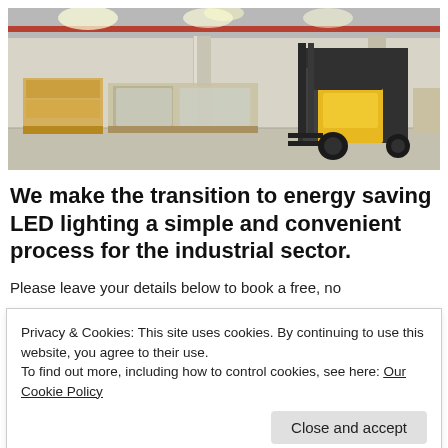[Figure (photo): Warehouse interior with forklift and stacked pallets of goods, bright industrial lighting overhead]
We make the transition to energy saving LED lighting a simple and convenient process for the industrial sector.
Please leave your details below to book a free, no
Privacy & Cookies: This site uses cookies. By continuing to use this website, you agree to their use.
To find out more, including how to control cookies, see here: Our Cookie Policy
Close and accept
lighting plans (free) which optimise energy efficiency